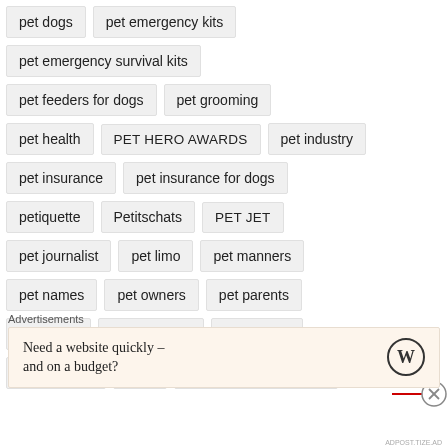pet dogs
pet emergency kits
pet emergency survival kits
pet feeders for dogs
pet grooming
pet health
PET HERO AWARDS
pet industry
pet insurance
pet insurance for dogs
petiquette
Petitschats
PET JET
pet journalist
pet limo
pet manners
pet names
pet owners
pet parents
Petplanet
Pet Products
pet rescue
Petroglyphs
Pets
pet safety in the home
Advertisements
Need a website quickly – and on a budget?